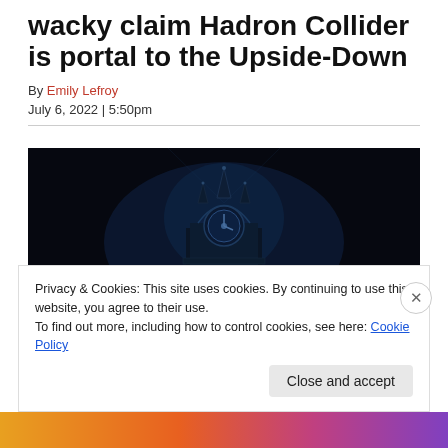wacky claim Hadron Collider is portal to the Upside-Down
By Emily Lefroy
July 6, 2022 | 5:50pm
[Figure (photo): Dark cinematic scene with a large ornate clock structure illuminated in blue light against a black background, resembling a scene from Stranger Things]
Privacy & Cookies: This site uses cookies. By continuing to use this website, you agree to their use.
To find out more, including how to control cookies, see here: Cookie Policy